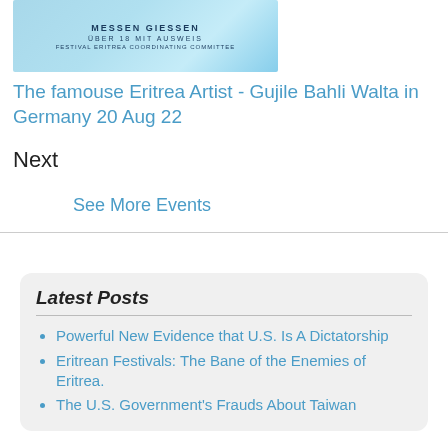[Figure (photo): Event poster image for Eritrea festival in Messen Giessen - blue themed with text: MESSEN GIESSEN, ÜBER 18 MIT AUSWEIS, FESTIVAL ERITREA COORDINATING COMMITTEE]
The famouse Eritrea Artist - Gujile Bahli Walta in Germany 20 Aug 22
Next
See More Events
Latest Posts
Powerful New Evidence that U.S. Is A Dictatorship
Eritrean Festivals: The Bane of the Enemies of Eritrea.
The U.S. Government's Frauds About Taiwan